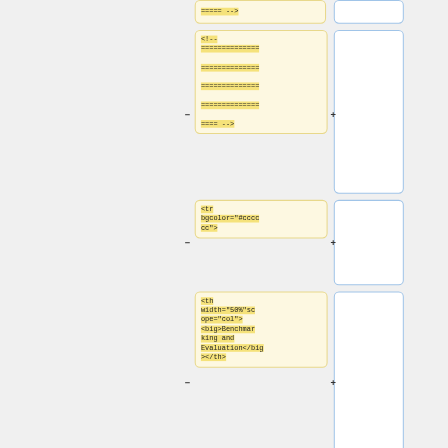[Figure (screenshot): Diff view showing code comparison. Left column (yellow/cream boxes) shows removed code snippets with minus buttons, right column (white/blue boxes) shows added code with plus buttons. Multiple rows of HTML code fragments are shown including XML comments with equals signs, tr bgcolor attribute, and th width/scope attributes with Benchmarking and Evaluation content.]
===== -->
<!--
==============
==============
==============
==============
==== -->
<tr bgcolor="#cccccc">
<th width="50%"scope="col"><big>Benchmarking and Evaluation</big></th>
<th width="50%"scope="col">